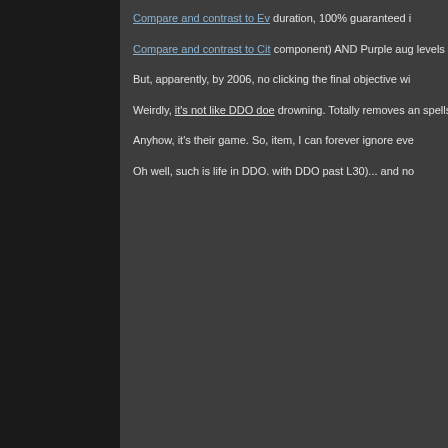Compare and contrast to Ev duration, 100% guaranteed i
Compare and contrast to Cit component) AND Purple aug levels of Knives of Artemis. A
But, apparently, by 2006, no clicking the final objective wi
Weirdly, it's not like DDO doe drowning. Totally removes an spells. Another mechanic ign poison, etc...
Anyhow, it's their game. So, item, I can forever ignore eve
Oh well, such is life in DDO. with DDO past L30)... and no
Last edited by Dalris_Thane; 02-1